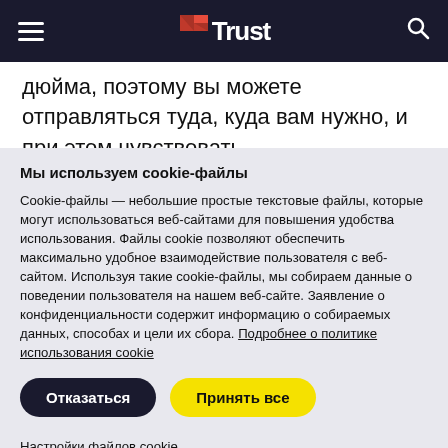Trust (logo/navigation header)
дюйма, поэтому вы можете отправляться туда, куда вам нужно, и при этом чувствовать
Мы используем cookie-файлы
Cookie-файлы — небольшие простые текстовые файлы, которые могут использоваться веб-сайтами для повышения удобства использования. Файлы cookie позволяют обеспечить максимально удобное взаимодействие пользователя с веб-сайтом. Используя такие cookie-файлы, мы собираем данные о поведении пользователя на нашем веб-сайте. Заявление о конфиденциальности содержит информацию о собираемых данных, способах и цели их сбора. Подробнее о политике использования cookie
Отказаться | Принять все
Настройки файлов cookie